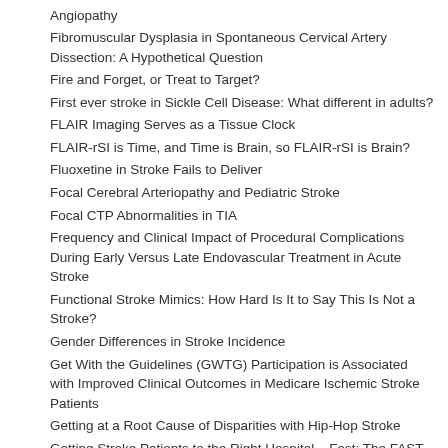Angiopathy
Fibromuscular Dysplasia in Spontaneous Cervical Artery Dissection: A Hypothetical Question
Fire and Forget, or Treat to Target?
First ever stroke in Sickle Cell Disease: What different in adults?
FLAIR Imaging Serves as a Tissue Clock
FLAIR-rSI is Time, and Time is Brain, so FLAIR-rSI is Brain?
Fluoxetine in Stroke Fails to Deliver
Focal Cerebral Arteriopathy and Pediatric Stroke
Focal CTP Abnormalities in TIA
Frequency and Clinical Impact of Procedural Complications During Early Versus Late Endovascular Treatment in Acute Stroke
Functional Stroke Mimics: How Hard Is It to Say This Is Not a Stroke?
Gender Differences in Stroke Incidence
Get With the Guidelines (GWTG) Participation is Associated with Improved Clinical Outcomes in Medicare Ischemic Stroke Patients
Getting at a Root Cause of Disparities with Hip-Hop Stroke
Getting Stroke Patients to the Right Hospital – Fast: The FAST-ED Smartphone App
Glowing Stem Cells May Shine A Light on Stroke Recovery Research
Glucose and Prognosis After Endovascular Treatment in Acute Ischemic Stroke: Old Questions, New Answers
Good Collaterals Despite Low ASPECTS: Expanding Thrombectomy